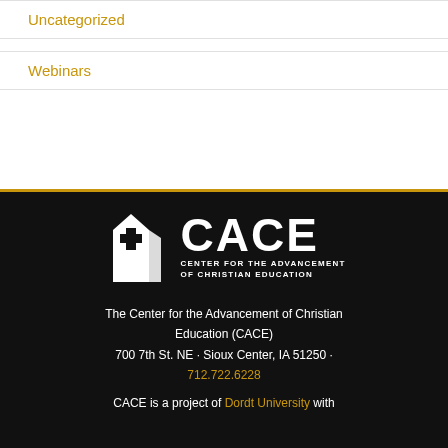Uncategorized
Webinars
[Figure (logo): CACE - Center for the Advancement of Christian Education logo with white cross/building icon on black background]
The Center for the Advancement of Christian Education (CACE)
700 7th St. NE · Sioux Center, IA 51250 ·
712.722.6228
CACE is a project of Dordt University with